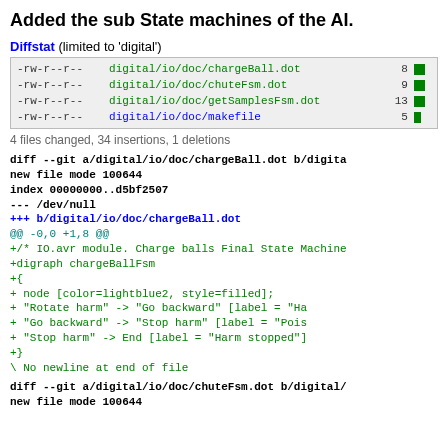Added the sub State machines of the AI.
Diffstat (limited to 'digital')
| permissions | file | count | bar |
| --- | --- | --- | --- |
| -rw-r--r-- | digital/io/doc/chargeBall.dot | 8 | ■ |
| -rw-r--r-- | digital/io/doc/chuteFsm.dot | 9 | ■ |
| -rw-r--r-- | digital/io/doc/getSamplesFsm.dot | 13 | ■ |
| -rw-r--r-- | digital/io/doc/makefile | 5 | ▌ |
4 files changed, 34 insertions, 1 deletions
diff --git a/digital/io/doc/chargeBall.dot b/digital/io/doc/chargeBall.dot
new file mode 100644
index 00000000..d5bf2507
--- /dev/null
+++ b/digital/io/doc/chargeBall.dot
@@ -0,0 +1,8 @@
+/* IO.avr module. Charge balls Final State Machine
+digraph chargeBallFsm
+{
+        node [color=lightblue2, style=filled];
+        "Rotate harm" -> "Go backward" [label = "Ha
+        "Go backward" -> "Stop harm" [label = "Pois
+        "Stop harm" -> End [label = "Harm stopped"]
+}
\ No newline at end of file
diff --git a/digital/io/doc/chuteFsm.dot b/digital/
new file mode 100644